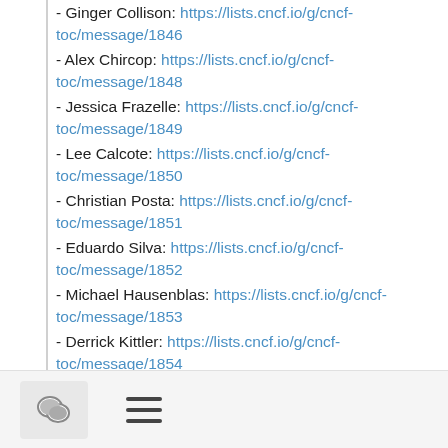- Ginger Collison: https://lists.cncf.io/g/cncf-toc/message/1846
- Alex Chircop: https://lists.cncf.io/g/cncf-toc/message/1848
- Jessica Frazelle: https://lists.cncf.io/g/cncf-toc/message/1849
- Lee Calcote: https://lists.cncf.io/g/cncf-toc/message/1850
- Christian Posta: https://lists.cncf.io/g/cncf-toc/message/1851
- Eduardo Silva: https://lists.cncf.io/g/cncf-toc/message/1852
- Michael Hausenblas: https://lists.cncf.io/g/cncf-toc/message/1853
- Derrick Kittler: https://lists.cncf.io/g/cncf-toc/message/1854
- Quinton Hoole: https://lists.cncf.io/g/cncf-toc/message/1855
- Michael Cwienczek: https://lists.cncf.io/g/cncf-toc/message/1856